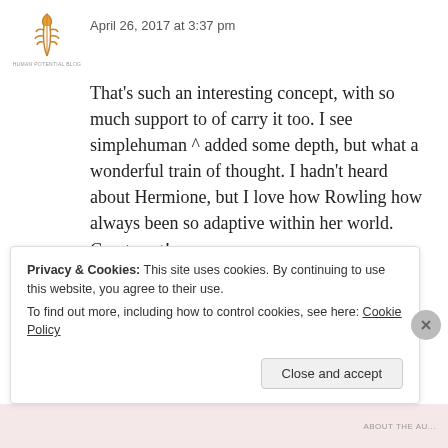[Figure (illustration): Small avatar/logo image of a golden wheat or feather emblem on white background]
April 26, 2017 at 3:37 pm
That’s such an interesting concept, with so much support to of carry it too. I see simplehuman ^ added some depth, but what a wonderful train of thought. I hadn’t heard about Hermione, but I love how Rowling how always been so adaptive within her world. Great post!
★ Like
Reply
Privacy & Cookies: This site uses cookies. By continuing to use this website, you agree to their use.
To find out more, including how to control cookies, see here: Cookie Policy
Close and accept